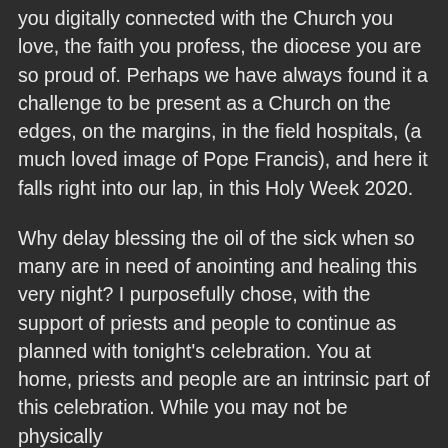you digitally connected with the Church you love, the faith you profess, the diocese you are so proud of. Perhaps we have always found it a challenge to be present as a Church on the edges, on the margins, in the field hospitals, (a much loved image of Pope Francis), and here it falls right into our lap, in this Holy Week 2020.
Why delay blessing the oil of the sick when so many are in need of anointing and healing this very night? I purposefully chose, with the support of priests and people to continue as planned with tonight's celebration. You at home, priests and people are an intrinsic part of this celebration. While you may not be physically